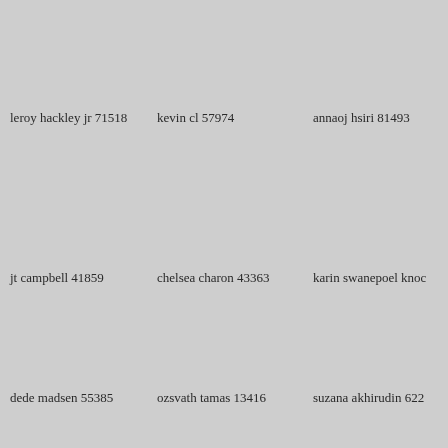leroy hackley jr 71518
kevin cl 57974
annaoj hsiri 81493
jt campbell 41859
chelsea charon 43363
karin swanepoel knoc
dede madsen 55385
ozsvath tamas 13416
suzana akhirudin 622